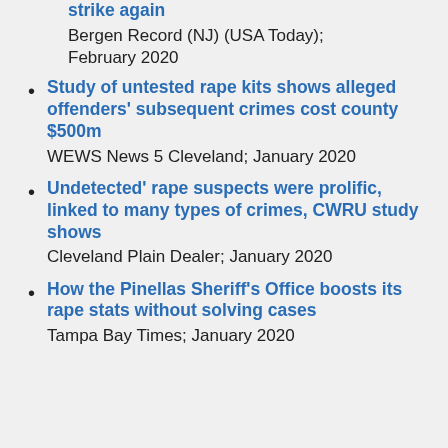strike again
Bergen Record (NJ) (USA Today); February 2020
Study of untested rape kits shows alleged offenders' subsequent crimes cost county $500m
WEWS News 5 Cleveland; January 2020
Undetected' rape suspects were prolific, linked to many types of crimes, CWRU study shows
Cleveland Plain Dealer; January 2020
How the Pinellas Sheriff's Office boosts its rape stats without solving cases
Tampa Bay Times; January 2020